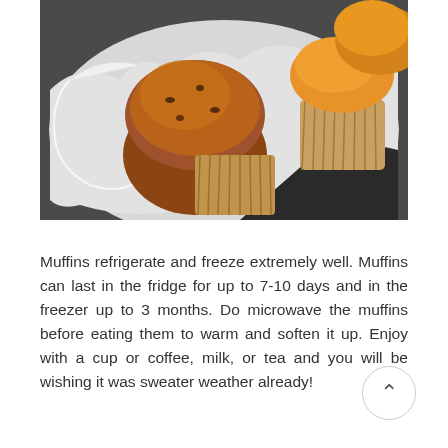[Figure (photo): Overhead photo of several baked muffins in brown paper cupcake liners arranged on white parchment paper in a dark container. The muffins are golden-brown and appear to be chocolate chip or spice muffins.]
Muffins refrigerate and freeze extremely well. Muffins can last in the fridge for up to 7-10 days and in the freezer up to 3 months. Do microwave the muffins before eating them to warm and soften it up. Enjoy with a cup or coffee, milk, or tea and you will be wishing it was sweater weather already!